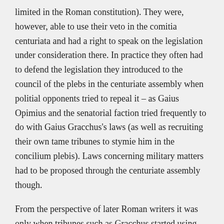limited in the Roman constitution). They were, however, able to use their veto in the comitia centuriata and had a right to speak on the legislation under consideration there. In practice they often had to defend the legislation they introduced to the council of the plebs in the centuriate assembly when politial opponents tried to repeal it – as Gaius Opimius and the senatorial faction tried frequently to do with Gaius Gracchus's laws (as well as recruiting their own tame tribunes to stymie him in the concilium plebis). Laws concerning military matters had to be proposed through the centuriate assembly though.
From the perspective of later Roman writers it was only when tribunes such as Gracchus started using their powers to enact serious legislative programmes that the stability of the state started to break down. Under the